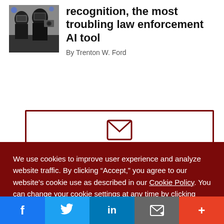[Figure (photo): Police officers in riot gear with helmets and shields]
recognition, the most troubling law enforcement AI tool
By Trenton W. Ford
[Figure (screenshot): Email signup box with envelope icon and 'Receive Email' heading, partially visible behind cookie banner]
We use cookies to improve user experience and analyze website traffic. By clicking “Accept,” you agree to our website’s cookie use as described in our Cookie Policy. You can change your cookie settings at any time by clicking “Preferences.”
Decline
Accept
Preferences
[Figure (screenshot): Social sharing bar with Facebook, Twitter, LinkedIn, Email, and More buttons]